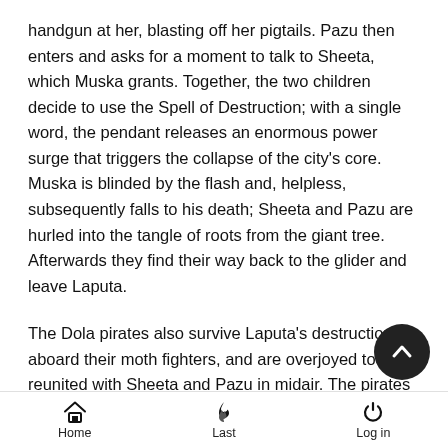handgun at her, blasting off her pigtails. Pazu then enters and asks for a moment to talk to Sheeta, which Muska grants. Together, the two children decide to use the Spell of Destruction; with a single word, the pendant releases an enormous power surge that triggers the collapse of the city's core. Muska is blinded by the flash and, helpless, subsequently falls to his death; Sheeta and Pazu are hurled into the tangle of roots from the giant tree. Afterwards they find their way back to the glider and leave Laputa.
The Dola pirates also survive Laputa's destruction aboard their moth fighters, and are overjoyed to be reunited with Sheeta and Pazu in midair. The pirates and the children bid each other a fond farewell and part ways. Meanwhile, the remains of Laputa, held together by the tree, continue to rise, until they apparently establish an orbit high above the earth.
In my opinion this had a lot of science fiction/fanasty themes
Home  Last  Log in